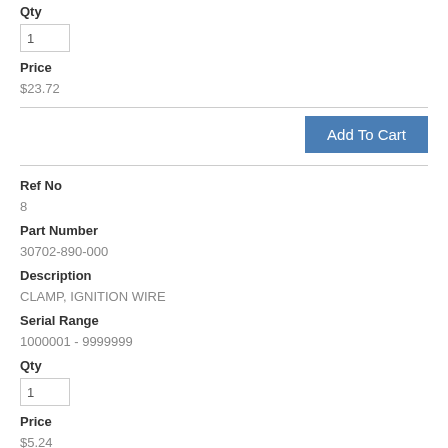Qty
1
Price
$23.72
Add To Cart
Ref No
8
Part Number
30702-890-000
Description
CLAMP, IGNITION WIRE
Serial Range
1000001 - 9999999
Qty
1
Price
$5.24
Add To Cart